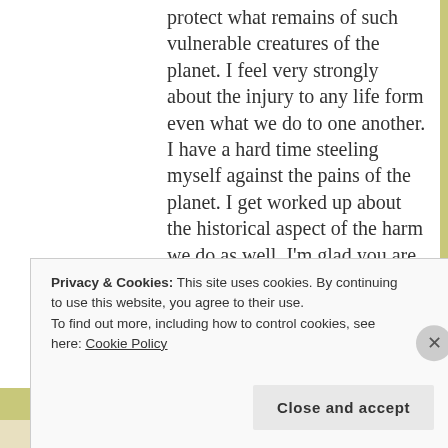protect what remains of such vulnerable creatures of the planet. I feel very strongly about the injury to any life form even what we do to one another. I have a hard time steeling myself against the pains of the planet. I get worked up about the historical aspect of the harm we do as well. I'm glad you are there to bring it to light in a gentler way than I could. I'd be swinging a sledge hammer at these
Privacy & Cookies: This site uses cookies. By continuing to use this website, you agree to their use.
To find out more, including how to control cookies, see here: Cookie Policy